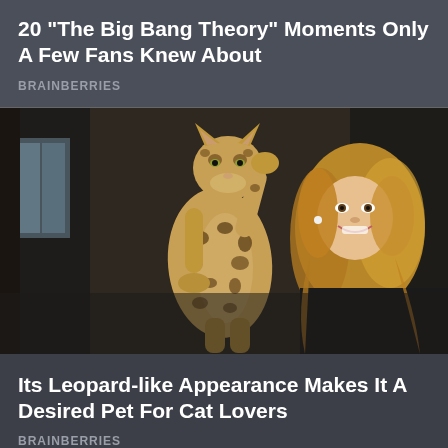20 "The Big Bang Theory" Moments Only A Few Fans Knew About
BRAINBERRIES
[Figure (photo): A large spotted serval cat standing upright on its hind legs, facing a smiling blonde woman in a dark interior room setting.]
Its Leopard-like Appearance Makes It A Desired Pet For Cat Lovers
BRAINBERRIES